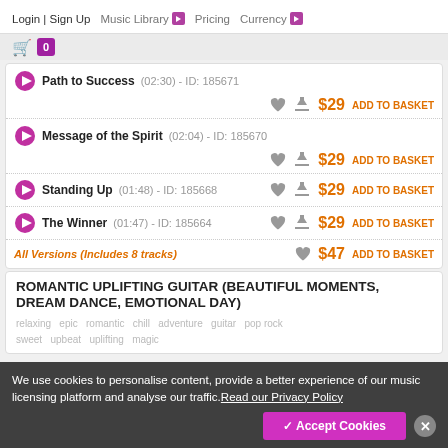Login | Sign Up  Music Library  Pricing  Currency
Path to Success (02:30) - ID: 185671 — $29 ADD TO BASKET
Message of the Spirit (02:04) - ID: 185670 — $29 ADD TO BASKET
Standing Up (01:48) - ID: 185668 — $29 ADD TO BASKET
The Winner (01:47) - ID: 185664 — $29 ADD TO BASKET
All Versions (Includes 8 tracks) — $47 ADD TO BASKET
ROMANTIC UPLIFTING GUITAR (BEAUTIFUL MOMENTS, DREAM DANCE, EMOTIONAL DAY)
relaxing  epic  romantic  chill  adventure  guitar  pop rock  sweet  upbeat  uplifting  magic
We use cookies to personalise content, provide a better experience of our music licensing platform and analyse our traffic. Read our Privacy Policy